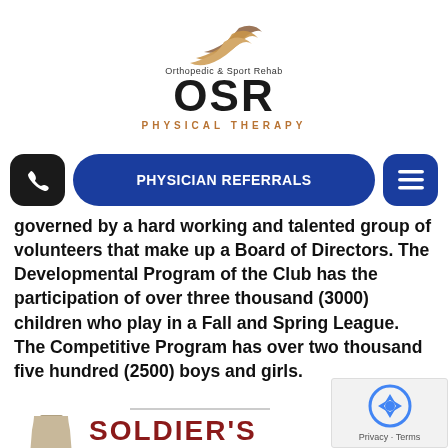[Figure (logo): OSR Physical Therapy logo with swoosh graphic, 'Orthopedic & Sport Rehab' text, large OSR letters, and 'PHYSICAL THERAPY' subtitle]
[Figure (screenshot): Website navigation bar with phone button, PHYSICIAN REFERRALS button, and hamburger menu button]
governed by a hard working and talented group of volunteers that make up a Board of Directors. The Developmental Program of the Club has the participation of over three thousand (3000) children who play in a Fall and Spring League. The Competitive Program has over two thousand five hundred (2500) boys and girls.
[Figure (illustration): Partial view of Soldier's Best Friend advertisement with bottle figure and red text reading SOLDIER'S BEST FRIEND]